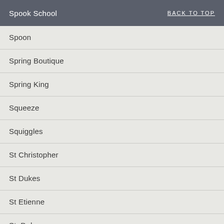Spook School | BACK TO TOP
Spoon
Spring Boutique
Spring King
Squeeze
Squiggles
St Christopher
St Dukes
St Etienne
St. Deluxe
Stanley Odd
Starjets
Stars